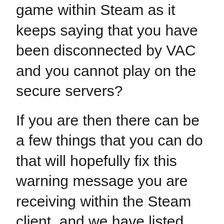game within Steam as it keeps saying that you have been disconnected by VAC and you cannot play on the secure servers?
If you are then there can be a few things that you can do that will hopefully fix this warning message you are receiving within the Steam client, and we have listed these below.
What Is Steam VAC?
VAC stands for Valve Anti-Cheat